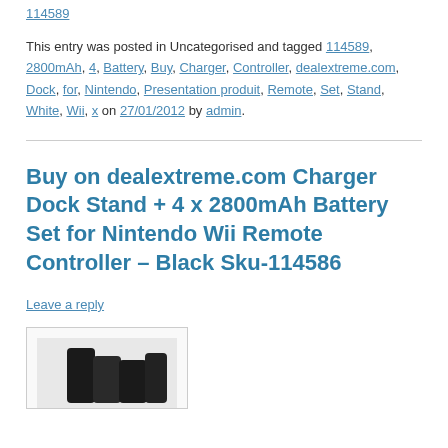114589
This entry was posted in Uncategorised and tagged 114589, 2800mAh, 4, Battery, Buy, Charger, Controller, dealextreme.com, Dock, for, Nintendo, Presentation produit, Remote, Set, Stand, White, Wii, x on 27/01/2012 by admin.
Buy on dealextreme.com Charger Dock Stand + 4 x 2800mAh Battery Set for Nintendo Wii Remote Controller – Black Sku-114586
Leave a reply
[Figure (photo): Product image of black battery pack for Nintendo Wii Remote Controller]